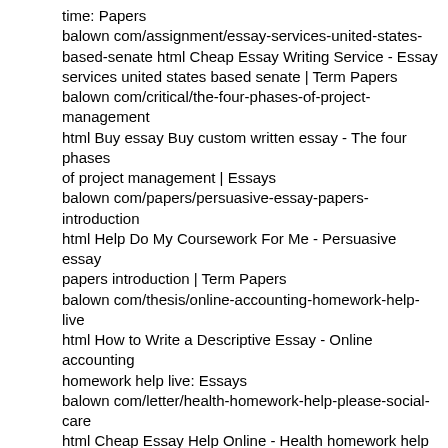time: Papers balown com/assignment/essay-services-united-states-based-senate html Cheap Essay Writing Service - Essay services united states based senate | Term Papers balown com/critical/the-four-phases-of-project-management html Buy essay Buy custom written essay - The four phases of project management | Essays balown com/papers/persuasive-essay-papers-introduction html Help Do My Coursework For Me - Persuasive essay papers introduction | Term Papers balown com/thesis/online-accounting-homework-help-live html How to Write a Descriptive Essay - Online accounting homework help live: Essays balown com/letter/health-homework-help-please-social-care html Cheap Essay Help Online - Health homework help please social care Papers balown com/blog/common-app-essay-over-500-words html Custom Coursework Writing Service - Common app essay over 500 words: Research Paper balown com/paper/science-helpercom html Custom Essay Online - Science helper com Essay balown com/paper/how-to-start-the-research-proposal html Essay Writer - How to start the research proposal Paper balown com/thesis/i-need-someone-to-write-my-homework-